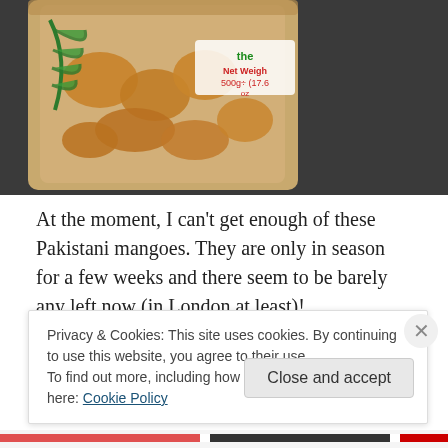[Figure (photo): Photo of a bag of Pakistani mangoes showing the packaging with green palm leaf design and label reading 'Net Weight 500g' on a dark surface]
At the moment, I can't get enough of these Pakistani mangoes. They are only in season for a few weeks and there seem to be barely any left now (in London at least)!
Privacy & Cookies: This site uses cookies. By continuing to use this website, you agree to their use.
To find out more, including how to control cookies, see here: Cookie Policy